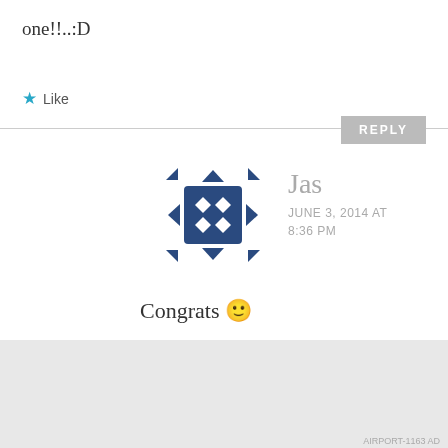one!!..:D
★ Like
[Figure (illustration): Avatar icon: dark blue square with four diamond shapes, four arrow-like triangles pointing outward at corners, resembling a move/drag icon]
Jas
JUNE 3, 2014 AT 8:36 PM
Congrats 🙂
★ Like
Advertisements
[Figure (screenshot): DuckDuckGo ad banner: orange left side with text 'Search, browse, and email with more privacy. All in One Free App', dark right side with DuckDuckGo duck logo]